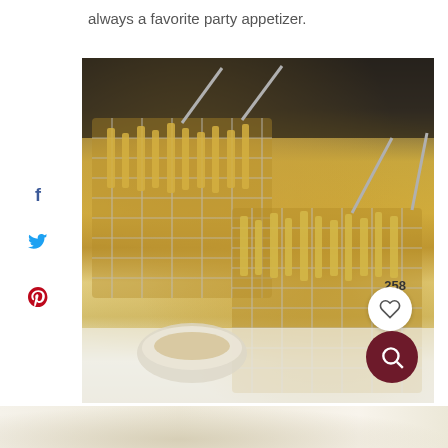always a favorite party appetizer.
[Figure (photo): Two wire metal fryer baskets filled with french fries served on a white surface with a dipping sauce bowl, photographed from a slightly elevated angle with shallow depth of field. Overlay icons show 258 saves, a heart/save button, and a search/zoom button.]
[Figure (photo): Partial bottom image showing a blurred food item on a white background, cropped at the bottom of the page.]